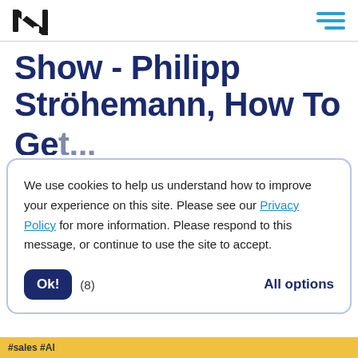Show - Philipp Ströhemann, How To Ge...
We use cookies to help us understand how to improve your experience on this site. Please see our Privacy Policy for more information. Please respond to this message, or continue to use the site to accept.
Ok! (8)   All options